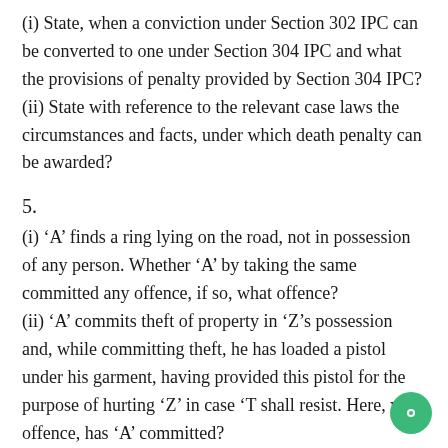(i) State, when a conviction under Section 302 IPC can be converted to one under Section 304 IPC and what the provisions of penalty provided by Section 304 IPC?
(ii) State with reference to the relevant case laws the circumstances and facts, under which death penalty can be awarded?
5.
(i) ‘A’ finds a ring lying on the road, not in possession of any person. Whether ‘A’ by taking the same committed any offence, if so, what offence?
(ii) ‘A’ commits theft of property in ‘Z’s possession and, while committing theft, he has loaded a pistol under his garment, having provided this pistol for the purpose of hurting ‘Z’ in case ‘T shall resist. Here, what offence, has ‘A’ committed?
(iii) ‘A’ holds ‘Z’ down and fraudulently takes ‘Z’s money